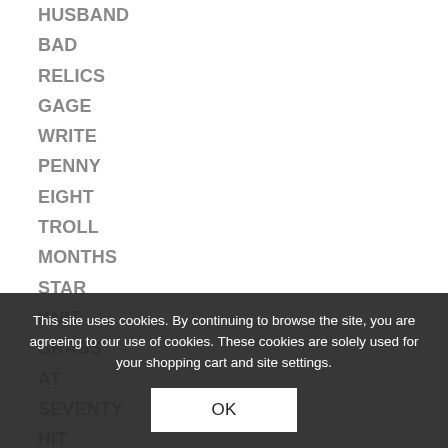HUSBAND
BAD
RELICS
GAGE
WRITE
PENNY
EIGHT
TROLL
MONTHS
STAR
KNIT
BRASS
AT
SEVENTY
HIT
AWKWARD
HORSE
FORESTS
WINDS
PAIN
DRINK
TOLD
This site uses cookies. By continuing to browse the site, you are agreeing to our use of cookies. These cookies are solely used for your shopping cart and site settings.
OK